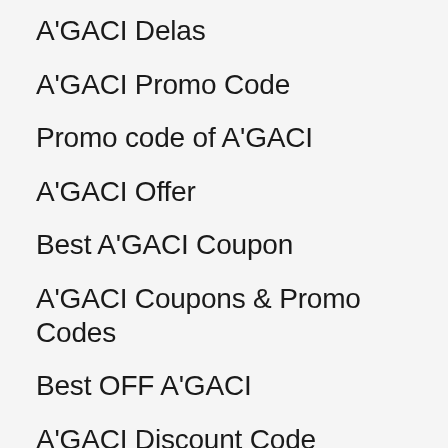A'GACI Delas
A'GACI Promo Code
Promo code of A'GACI
A'GACI Offer
Best A'GACI Coupon
A'GACI Coupons & Promo Codes
Best OFF A'GACI
A'GACI Discount Code